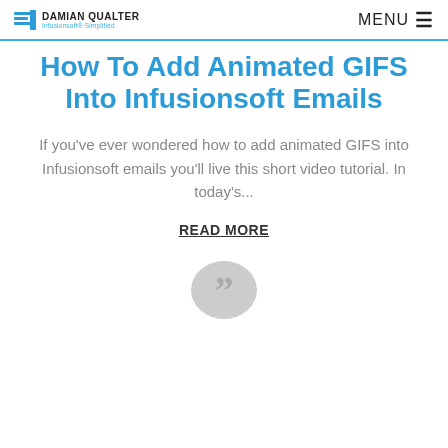DAMIAN QUALTER Infusionsoft® Simplified | MENU
How To Add Animated GIFS Into Infusionsoft Emails
If you've ever wondered how to add animated GIFS into Infusionsoft emails you'll live this short video tutorial. In today's...
READ MORE
[Figure (illustration): Grey circular quote/speech bubble icon at bottom of page]